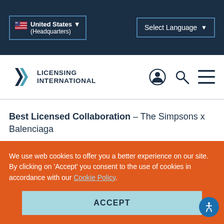United States (Headquarters) | Select Language
[Figure (logo): Licensing International logo with double arrow icon]
Best Licensed Collaboration – The Simpsons x Balenciaga
Best Licensed Promotion – Rovio & Born
We use web cookies to offer you a better experience on our site. By clicking on 'Accept' you consent to the use of cookies in accordance with our Cookie Policy.
ACCEPT